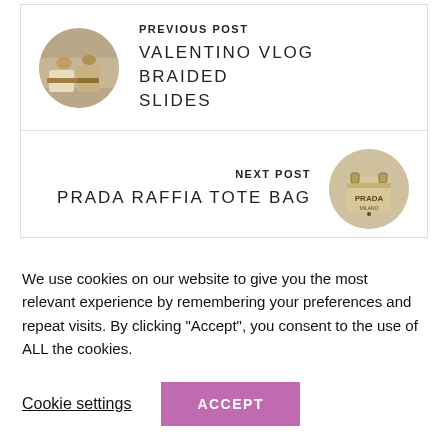PREVIOUS POST
[Figure (photo): Circular thumbnail of Valentino braided slides shoes on a shelf]
VALENTINO VLOG BRAIDED SLIDES
NEXT POST
PRADA RAFFIA TOTE BAG
[Figure (photo): Circular thumbnail of a Prada raffia tote bag]
BACK TO TOP
We use cookies on our website to give you the most relevant experience by remembering your preferences and repeat visits. By clicking “Accept”, you consent to the use of ALL the cookies.
Cookie settings
ACCEPT